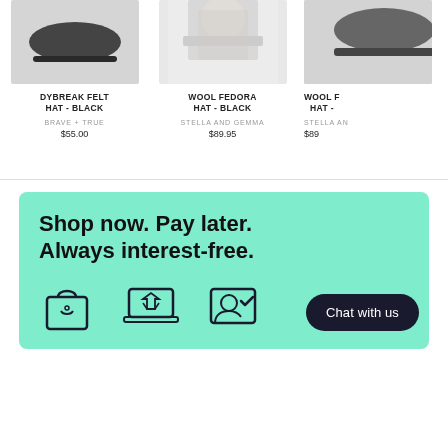[Figure (photo): Product thumbnail of Dybreak Felt Hat in black from Brave + True]
DYBREAK FELT HAT - BLACK
BRAVE + TRUE
$55.00
[Figure (photo): Product thumbnail of Wool Fedora Hat in black from Stella and Gemma]
WOOL FEDORA HAT - BLACK
STELLA AND GEMMA
$89.95
[Figure (photo): Partial product thumbnail of Wool Fedora Hat (cropped) from Stella and Gemma]
WOOL F HAT -
STELLA AN
$89
[Figure (infographic): Afterpay promotional banner: Shop now. Pay later. Always interest-free. With shopping bag, laptop, and user icon illustrations and a Chat with us button.]
Shop now. Pay later. Always interest-free.
Chat with us